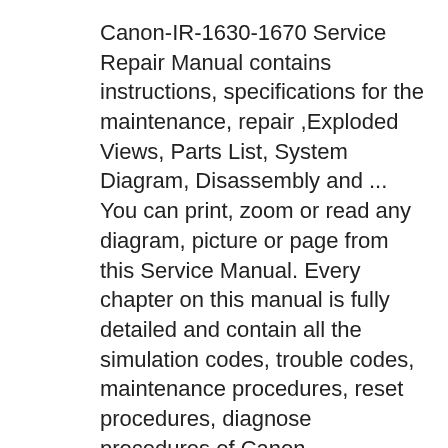Canon-IR-1630-1670 Service Repair Manual contains instructions, specifications for the maintenance, repair ,Exploded Views, Parts List, System Diagram, Disassembly and ... You can print, zoom or read any diagram, picture or page from this Service Manual. Every chapter on this manual is fully detailed and contain all the simulation codes, trouble codes, maintenance procedures, reset procedures, diagnose procedures of Canon imageRUNNER 1435, imageRUNNER 1430 Series photocopier. You can find easily everything what
Canon imageRUNNER-iR 1600 2000 Service Manual JavaScript seems to be